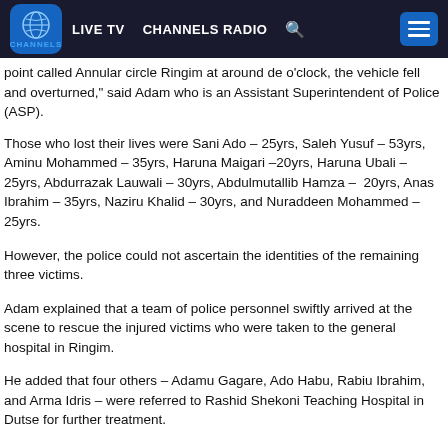LIVE TV  CHANNELS RADIO
point called Annular circle Ringim at around de o'clock, the vehicle fell and overturned," said Adam who is an Assistant Superintendent of Police (ASP).
Those who lost their lives were Sani Ado – 25yrs, Saleh Yusuf – 53yrs, Aminu Mohammed – 35yrs, Haruna Maigari –20yrs, Haruna Ubali – 25yrs, Abdurrazak Lauwali – 30yrs, Abdulmutallib Hamza – 20yrs, Anas Ibrahim – 35yrs, Naziru Khalid – 30yrs, and Nuraddeen Mohammed – 25yrs.
However, the police could not ascertain the identities of the remaining three victims.
Adam explained that a team of police personnel swiftly arrived at the scene to rescue the injured victims who were taken to the general hospital in Ringim.
He added that four others – Adamu Gagare, Ado Habu, Rabiu Ibrahim, and Arma Idris – were referred to Rashid Shekoni Teaching Hospital in Dutse for further treatment.
In his reaction, the Commissioner of Police in Jigawa, Aliyu Tafida, condoled with the families of the deceased and pray for the recovery of